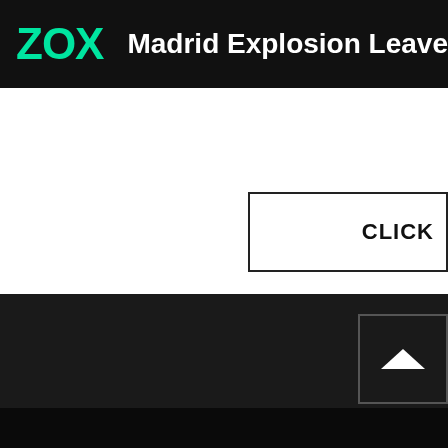ZOX — Madrid Explosion Leaves at Le
CLICK
[Figure (screenshot): Back-to-top chevron button with upward arrow on dark background]